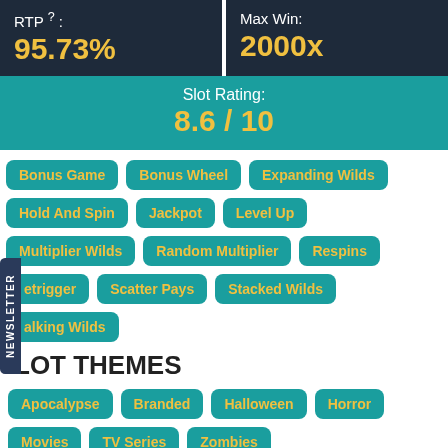RTP ?: 95.73%
Max Win: 2000x
Slot Rating: 8.6 / 10
Bonus Game
Bonus Wheel
Expanding Wilds
Hold And Spin
Jackpot
Level Up
Multiplier Wilds
Random Multiplier
Respins
Retrigger
Scatter Pays
Stacked Wilds
Walking Wilds
SLOT THEMES
Apocalypse
Branded
Halloween
Horror
Movies
TV Series
Zombies